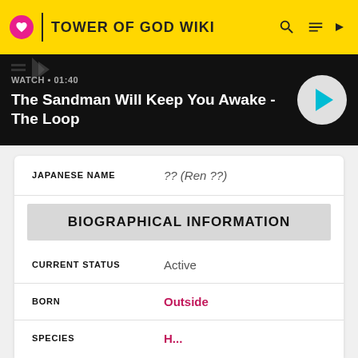TOWER OF GOD WIKI
[Figure (screenshot): Video banner with watch label and play button: WATCH • 01:40, The Sandman Will Keep You Awake - The Loop]
| Field | Value |
| --- | --- |
| JAPANESE NAME | ?? (Ren ??) |
| BIOGRAPHICAL INFORMATION |  |
| CURRENT STATUS | Active |
| BORN | Outside |
| SPECIES | H... |